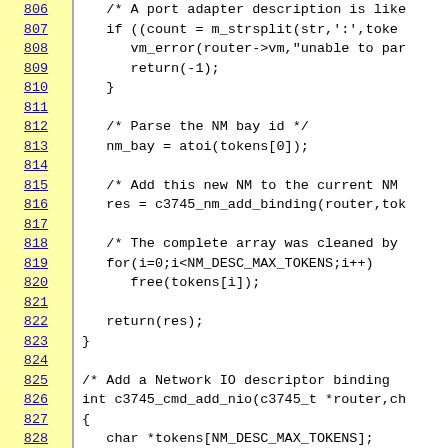[Figure (screenshot): Source code viewer showing C code lines 806-828 with line numbers on yellow background on the left and code content on the right. Lines include a port adapter description comment, string split, vm_error, return statements, NM bay id parsing, NM binding, array cleanup loop, and a new function c3745_cmd_add_nio starting.]